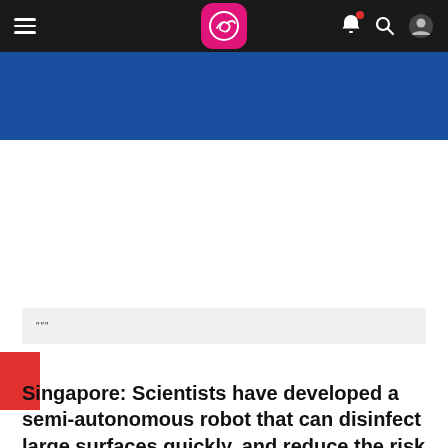Navigation bar with hamburger menu, app logo, bell notification, search, and account icons
[Figure (screenshot): Blue banner header area below navigation bar]
[Figure (screenshot): Gray bar UI element with quotation marks indicator]
Singapore: Scientists have developed a semi-autonomous robot that can disinfect large surfaces quickly, and reduce the risk of cleaners picking up